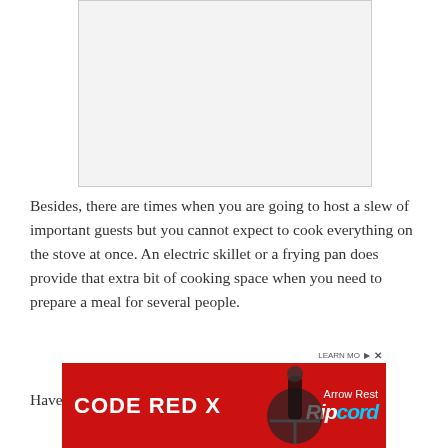[Figure (other): Blank placeholder image with light gray background and border]
Besides, there are times when you are going to host a slew of important guests but you cannot expect to cook everything on the stove at once. An electric skillet or a frying pan does provide that extra bit of cooking space when you need to prepare a meal for several people.
Have a close look at the top 5 electric skillets
[Figure (other): Advertisement banner: CODE RED X with Ripcord branding on red background with arrow reel product image]